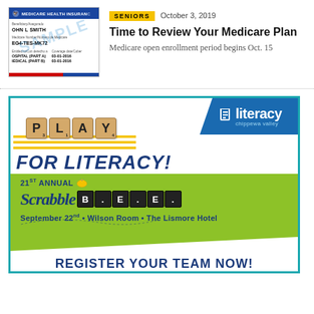[Figure (photo): Sample Medicare Health Insurance card showing OHN L SMITH, EG4-TES-MK72, Hospital (Part A) 03-01-2016, Medical (Part B) 03-01-2016 with SAMPLE watermark]
SENIORS
October 3, 2019
Time to Review Your Medicare Plan
Medicare open enrollment period begins Oct. 15
[Figure (illustration): Play for Literacy - 21st Annual Scrabble Bee advertisement. September 22nd, Wilson Room, The Lismore Hotel. Register Your Team Now! Literacy Chippewa Valley logo.]